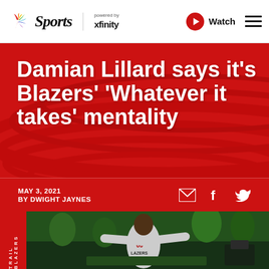NBC Sports powered by xfinity | Watch
Damian Lillard says it's Blazers' 'Whatever it takes' mentality
MAY 3, 2021
BY DWIGHT JAYNES
[Figure (photo): Basketball player in Portland Trail Blazers jersey number 00 celebrating with arms outstretched, surrounded by people in green clothing in the background]